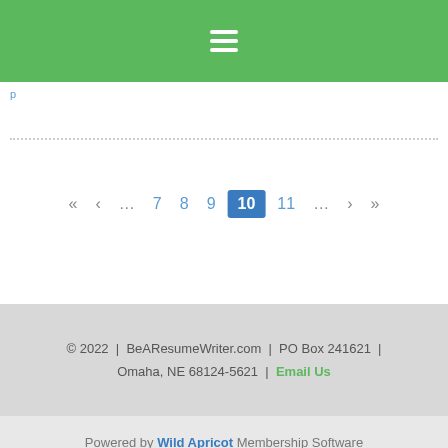Navigation menu bar (hamburger icon)
p
... 7 8 9 10 11 ... (pagination, current page 10)
© 2022 | BeAResumeWriter.com | PO Box 241621 | Omaha, NE 68124-5621 | Email Us
Powered by Wild Apricot Membership Software